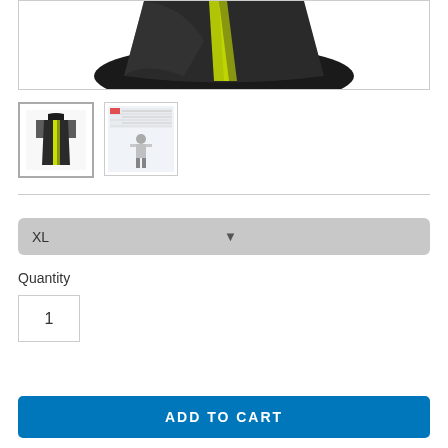[Figure (photo): Main product image showing a dark cycling jersey with yellow-green stripe detail, cropped to show the bottom portion of the garment]
[Figure (photo): Thumbnail 1: cycling jersey front view, dark with yellow-green accents]
[Figure (photo): Thumbnail 2: size chart and mannequin figure wearing the cycling jersey]
XL
Quantity
1
ADD TO CART